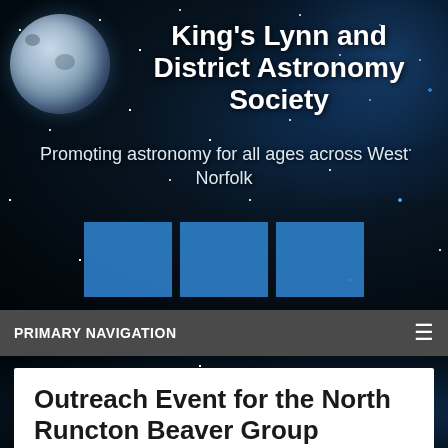[Figure (screenshot): Astronomy society website header with starfield background, moon image, title text, blue squares, and navigation bar]
King's Lynn and District Astronomy Society
Promoting astronomy for all ages across West Norfolk
PRIMARY NAVIGATION
Outreach Event for the North Runcton Beaver Group
4th October 2015 by Andy Milner
Outreach Event for the North Runcton Beaver Group